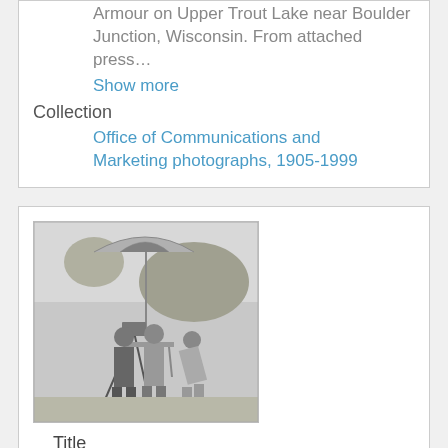Armour on Upper Trout Lake near Boulder Junction, Wisconsin. From attached press…
Show more
Collection
Office of Communications and Marketing photographs, 1905-1999
[Figure (photo): Black and white photograph of people outdoors under a striped umbrella with surveying equipment, trees in background]
Title
Civil Engineering students and